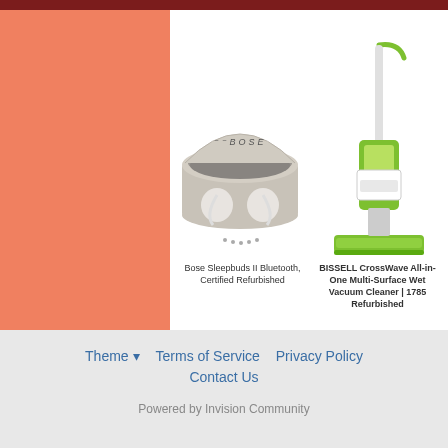[Figure (photo): Bose Sleepbuds II Bluetooth earbuds in open charging case, silver/gray color]
Bose Sleepbuds II Bluetooth, Certified Refurbished
[Figure (photo): BISSELL CrossWave All-in-One Multi-Surface Wet Vacuum Cleaner 1785, green and white color, upright position]
BISSELL CrossWave All-in-One Multi-Surface Wet Vacuum Cleaner | 1785 Refurbished
Theme ▾   Terms of Service   Privacy Policy   Contact Us
Powered by Invision Community